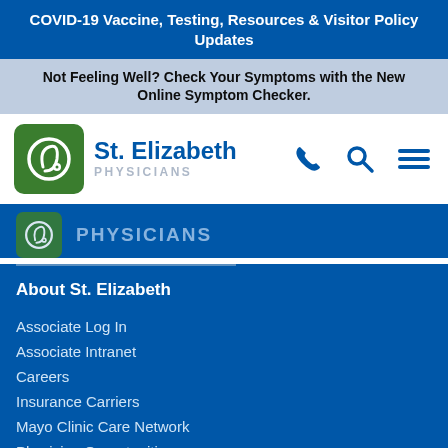COVID-19 Vaccine, Testing, Resources & Visitor Policy Updates
Not Feeling Well? Check Your Symptoms with the New Online Symptom Checker.
[Figure (logo): St. Elizabeth Physicians logo with green square icon, blue name and gray PHYSICIANS subtitle, plus phone, search, and menu icons]
[Figure (logo): Partial St. Elizabeth Physicians logo repeated in blue navigation bar]
About St. Elizabeth
Associate Log In
Associate Intranet
Careers
Insurance Carriers
Mayo Clinic Care Network
Physician Opportunities